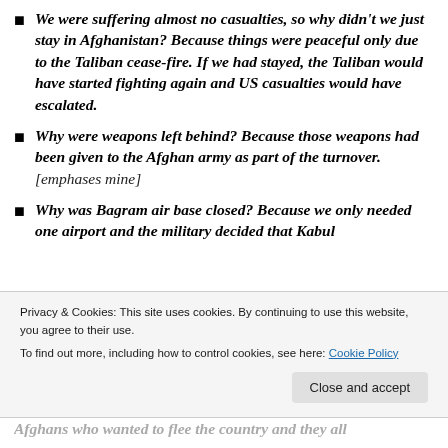We were suffering almost no casualties, so why didn't we just stay in Afghanistan? Because things were peaceful only due to the Taliban cease-fire. If we had stayed, the Taliban would have started fighting again and US casualties would have escalated.
Why were weapons left behind? Because those weapons had been given to the Afghan army as part of the turnover. [emphases mine]
Why was Bagram air base closed? Because we only needed one airport and the military decided that Kabul
Privacy & Cookies: This site uses cookies. By continuing to use this website, you agree to their use.
To find out more, including how to control cookies, see here: Cookie Policy
Afghans who wanted to flee the country and they all